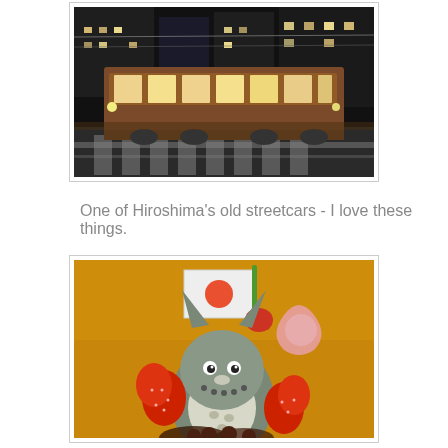[Figure (photo): Night photo of one of Hiroshima's old streetcars on a city street with crosswalk markings visible, city buildings lit up in the background]
One of Hiroshima's old streetcars - I love these things.
[Figure (photo): Close-up photo of a Totoro-shaped dessert/cake decoration with strawberries, a Japanese flag, and a physalis fruit, on an orange/caramel colored background]